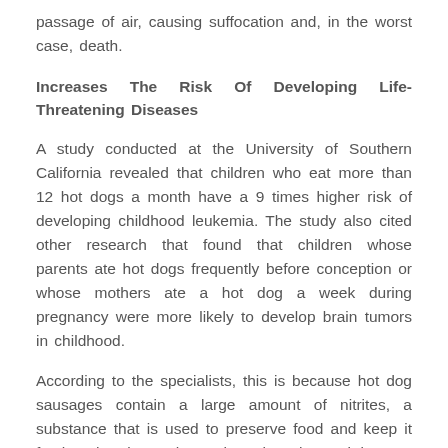passage of air, causing suffocation and, in the worst case, death.
Increases The Risk Of Developing Life-Threatening Diseases
A study conducted at the University of Southern California revealed that children who eat more than 12 hot dogs a month have a 9 times higher risk of developing childhood leukemia. The study also cited other research that found that children whose parents ate hot dogs frequently before conception or whose mothers ate a hot dog a week during pregnancy were more likely to develop brain tumors in childhood.
According to the specialists, this is because hot dog sausages contain a large amount of nitrites, a substance that is used to preserve food and keep it fresh. It has been shown that when these nitrites